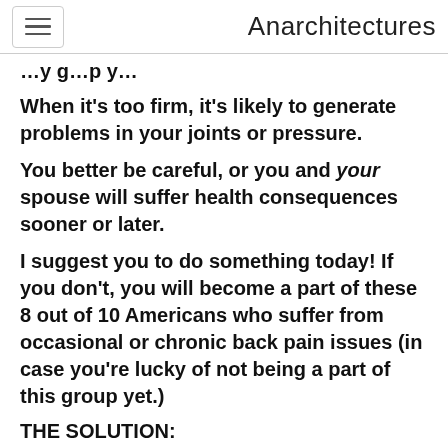Anarchitectures
…y g…p y…
When it's too firm, it's likely to generate problems in your joints or pressure.
You better be careful, or you and your spouse will suffer health consequences sooner or later.
I suggest you to do something today! If you don't, you will become a part of these 8 out of 10 Americans who suffer from occasional or chronic back pain issues (in case you're lucky of not being a part of this group yet.)
THE SOLUTION:
DreamCloud mattress. The eight layers of special